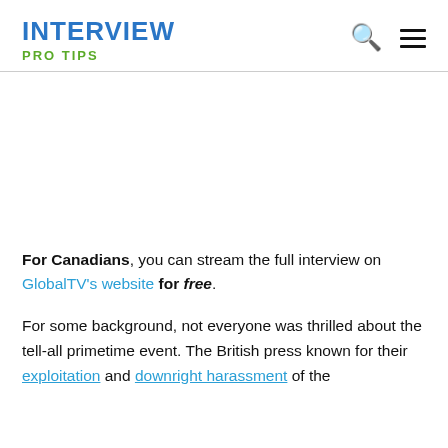INTERVIEW  PRO TIPS
[Figure (other): Empty white space / ad placeholder area]
For Canadians, you can stream the full interview on GlobalTV's website for free.
For some background, not everyone was thrilled about the tell-all primetime event. The British press known for their exploitation and downright harassment of the